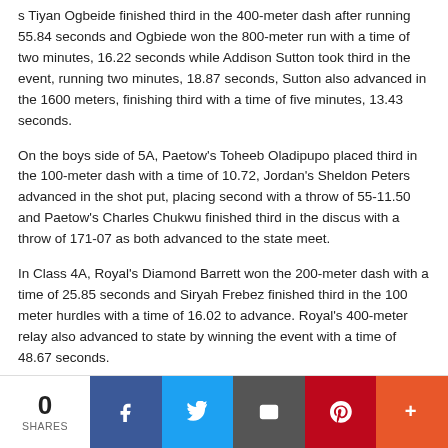s Tiyan Ogbeide finished third in the 400-meter dash after running 55.84 seconds and Ogbiede won the 800-meter run with a time of two minutes, 16.22 seconds while Addison Sutton took third in the event, running two minutes, 18.87 seconds, Sutton also advanced in the 1600 meters, finishing third with a time of five minutes, 13.43 seconds.
On the boys side of 5A, Paetow's Toheeb Oladipupo placed third in the 100-meter dash with a time of 10.72, Jordan's Sheldon Peters advanced in the shot put, placing second with a throw of 55-11.50 and Paetow's Charles Chukwu finished third in the discus with a throw of 171-07 as both advanced to the state meet.
In Class 4A, Royal's Diamond Barrett won the 200-meter dash with a time of 25.85 seconds and Siryah Frebez finished third in the 100 meter hurdles with a time of 16.02 to advance. Royal's 400-meter relay also advanced to state by winning the event with a time of 48.67 seconds.
[Figure (infographic): Social sharing bar with share count of 0 and buttons for Facebook, Twitter, Email, Pinterest, and More]